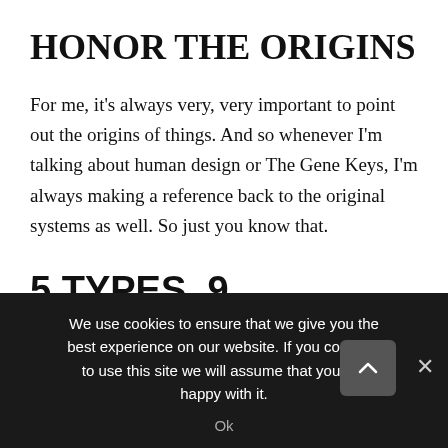HONOR THE ORIGINS
For me, it's always very, very important to point out the origins of things. And so whenever I'm talking about human design or The Gene Keys, I'm always making a reference back to the original systems as well. So just you know that.
5 TYPES, 9 CENTERS, 64 GATES/KEYS
We use cookies to ensure that we give you the best experience on our website. If you continue to use this site we will assume that you are happy with it.
Ok